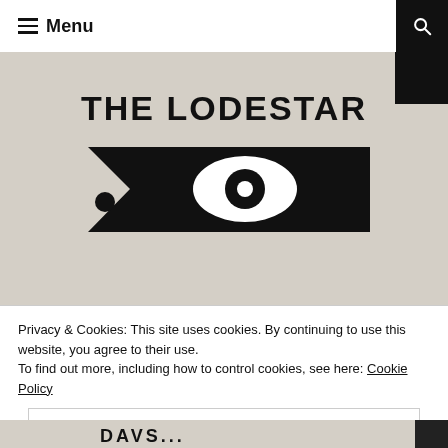Menu
[Figure (illustration): Photo of a vintage publication cover reading 'THE LODESTAR' with a graphic of a stylized arrow/eye logo on a textured off-white background]
Privacy & Cookies: This site uses cookies. By continuing to use this website, you agree to their use.
To find out more, including how to control cookies, see here: Cookie Policy
Close and accept